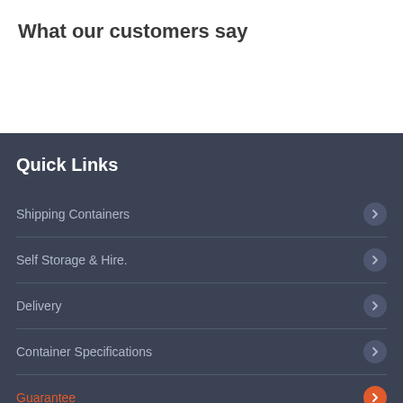What our customers say
Quick Links
Shipping Containers
Self Storage & Hire.
Delivery
Container Specifications
Guarantee
FAQ